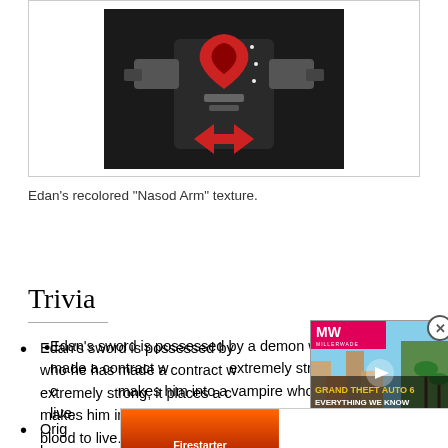[Figure (illustration): Game character artwork showing a dark armored figure with red and grey Nasod Arm texture elements]
Edan's recolored "Nasod Arm" texture.
Trivia
Edan's sword is possessed by a demon who he has made a contract with, while extremely strong, it places a curse that makes him into a vampire who needs blood to live.
Originally, Edan was supposed to have Feita; however...
[Figure (screenshot): Video ad overlay showing Grand Theft Auto 6 - Everything We Know, with MW logo and city background]
[Figure (photo): Peacock streaming banner ad with Firestarter movie promotion - STREAM NOW]